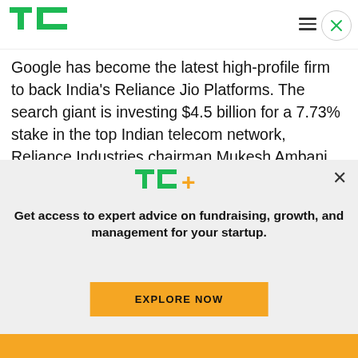TechCrunch
Google has become the latest high-profile firm to back India's Reliance Jio Platforms. The search giant is investing $4.5 billion for a 7.73% stake in the top Indian telecom network, Reliance Industries chairman Mukesh Ambani said on Wednesday.
The investment today from Google is one of the
[Figure (logo): TechCrunch TC+ logo with green TC and orange plus sign]
Get access to expert advice on fundraising, growth, and management for your startup.
EXPLORE NOW